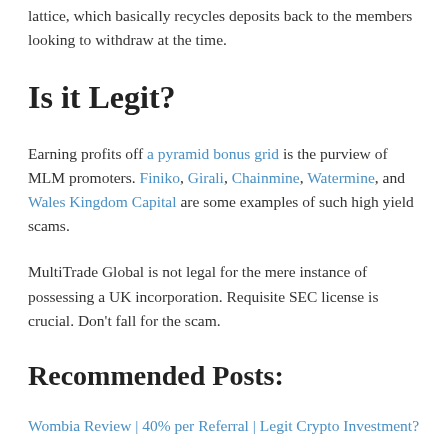lattice, which basically recycles deposits back to the members looking to withdraw at the time.
Is it Legit?
Earning profits off a pyramid bonus grid is the purview of MLM promoters. Finiko, Girali, Chainmine, Watermine, and Wales Kingdom Capital are some examples of such high yield scams.
MultiTrade Global is not legal for the mere instance of possessing a UK incorporation. Requisite SEC license is crucial. Don't fall for the scam.
Recommended Posts:
Wombia Review | 40% per Referral | Legit Crypto Investment?